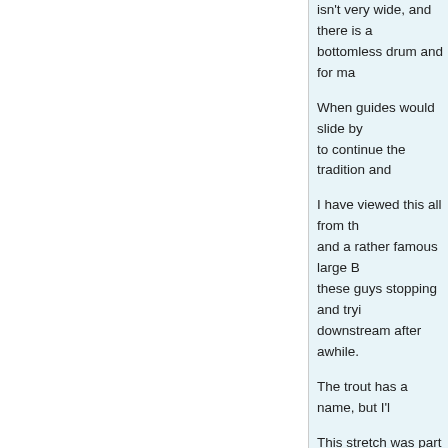isn't very wide, and there is a bottomless drum and for ma
When guides would slide by to continue the tradition and
I have viewed this all from the and a rather famous large B these guys stopping and tryi downstream after awhile.
The trout has a name, but I'l
This stretch was part of my w pool here has a name. Stori
We stayed at a lodge that w living large...Everything new remote controlled gas firepla ways down from where I no the dark, in the middle of the
On open day morning we ha Mary's, mimosa, etc, and re